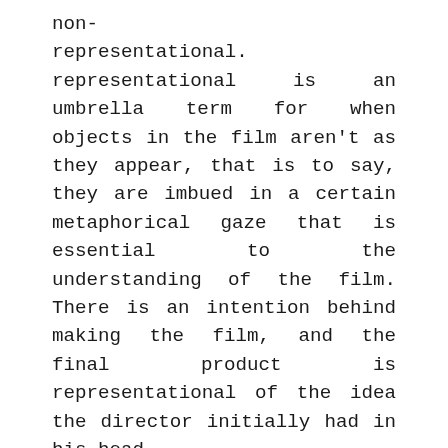non-representational. The representational is an umbrella term for when objects in the film aren't as they appear, that is to say, they are imbued in a certain metaphorical gaze that is essential to the understanding of the film. There is an intention behind making the film, and the final product is representational of the idea the director initially had in his head. The non-representational (or the 'fragmentation-al'), on the other hand, comes from films having a complete lack of intent. The 'literal meaning' in a film doesn't take on any 'extended meaning', and the traditional metaphors that guide the audience towards a coherent meaning are missing. If these traditional markers